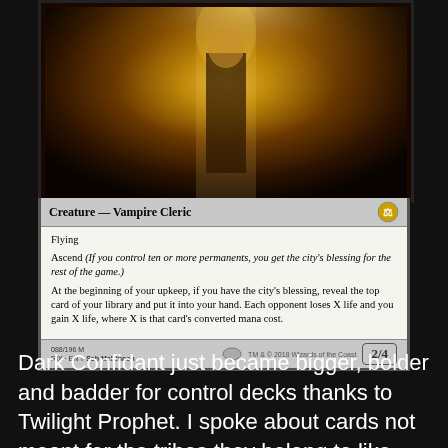[Figure (illustration): Magic: The Gathering card — Twilight Prophet. Creature — Vampire Cleric. Flying. Ascend (If you control ten or more permanents, you get the city's blessing for the rest of the game.) At the beginning of your upkeep, if you have the city's blessing, reveal the top card of your library and put it into your hand. Each opponent loses X life and you gain X life, where X is that card's converted mana cost. 2/4. 088/196 M. RIX · EN · Seb McKinnon. TM & © 2018 Wizards of the Coast.]
Dark Confidant just became bigger, bolder and badder for control decks thanks to Twilight Prophet. I spoke about cards not meant for the tribes they belong to like Champion of Dusk and this card fits that bill nicely as well. I like how this creature gives control players even